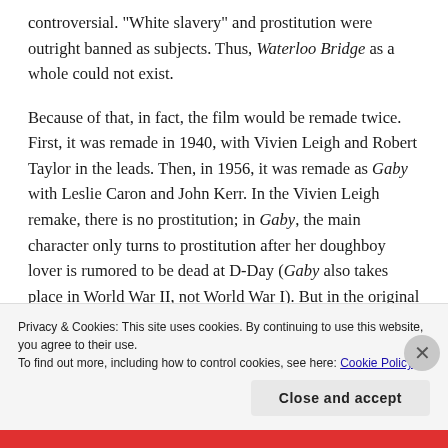controversial. 'White slavery' and prostitution were outright banned as subjects. Thus, Waterloo Bridge as a whole could not exist.
Because of that, in fact, the film would be remade twice. First, it was remade in 1940, with Vivien Leigh and Robert Taylor in the leads. Then, in 1956, it was remade as Gaby with Leslie Caron and John Kerr. In the Vivien Leigh remake, there is no prostitution; in Gaby, the main character only turns to prostitution after her doughboy lover is rumored to be dead at D-Day (Gaby also takes place in World War II, not World War I). But in the original film (based on a
Privacy & Cookies: This site uses cookies. By continuing to use this website, you agree to their use.
To find out more, including how to control cookies, see here: Cookie Policy